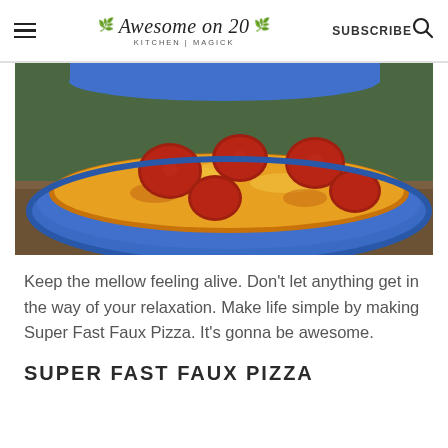Awesome on 20 KITCHEN | MAGICK  SUBSCRIBE
[Figure (photo): A round blue ceramic baking dish containing a pepperoni pizza casserole with melted golden cheese and red pepperoni slices on top, sitting on a wooden surface.]
Keep the mellow feeling alive. Don't let anything get in the way of your relaxation. Make life simple by making Super Fast Faux Pizza. It's gonna be awesome.
SUPER FAST FAUX PIZZA